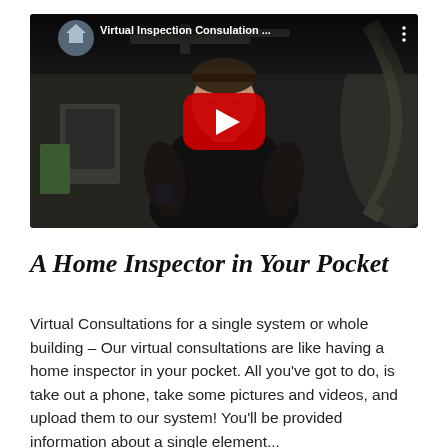[Figure (screenshot): YouTube video thumbnail showing a man in a dark basement/mechanical room wearing a black shirt. The video title reads 'Virtual Inspection Consulation ...' with a YouTube channel avatar on the left and three-dot menu on the right. A large red YouTube play button is centered on the image.]
A Home Inspector in Your Pocket
Virtual Consultations for a single system or whole building – Our virtual consultations are like having a home inspector in your pocket. All you've got to do, is take out a phone, take some pictures and videos, and upload them to our system! You'll be provided information about a single element...